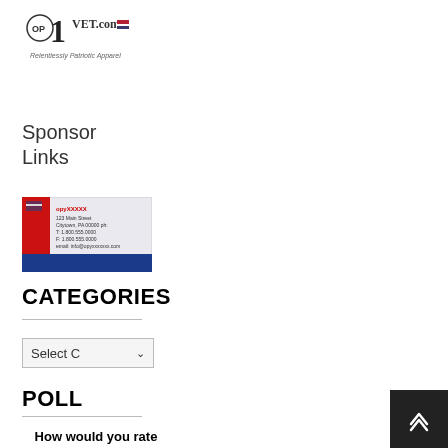[Figure (logo): OP1VET.com logo with number 1 stylized, and tagline 'Relentlessly Patriotic Apparel']
Sponsor Links
[Figure (illustration): Sponsor advertisement image with red and blue elements and contact information text]
CATEGORIES
Select C
POLL
How would you rate racing compared to 15